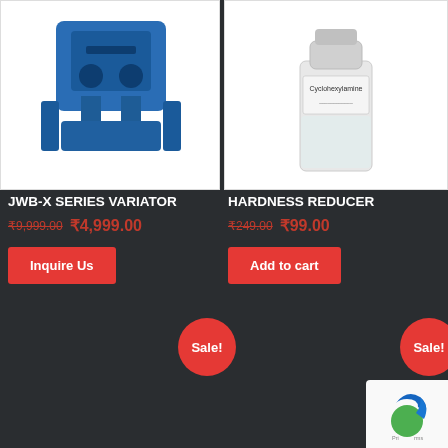[Figure (photo): Blue JWB-X Series Variator mechanical device on white background]
[Figure (photo): Clear bottle labeled Cyclohexylamine on white background]
JWB-X SERIES VARIATOR
₹9,999.00 ₹4,999.00
Inquire Us
HARDNESS REDUCER
₹249.00 ₹99.00
Add to cart
Sale!
Sale!